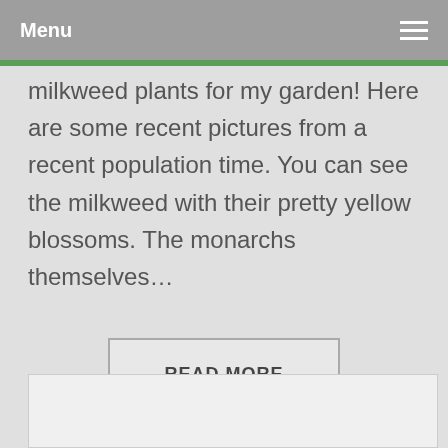Menu
milkweed plants for my garden!  Here are some recent pictures from a recent population time.  You can see the milkweed with their pretty yellow blossoms.  The monarchs themselves…
READ MORE